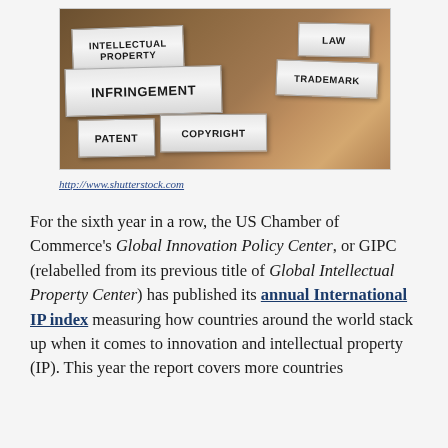[Figure (photo): File folders with labels reading INTELLECTUAL PROPERTY, LAW, INFRINGEMENT, TRADEMARK, PATENT, COPYRIGHT on folder tabs against a wooden background]
http://www.shutterstock.com
For the sixth year in a row, the US Chamber of Commerce's Global Innovation Policy Center, or GIPC (relabelled from its previous title of Global Intellectual Property Center) has published its annual International IP index measuring how countries around the world stack up when it comes to innovation and intellectual property (IP). This year the report covers more countries